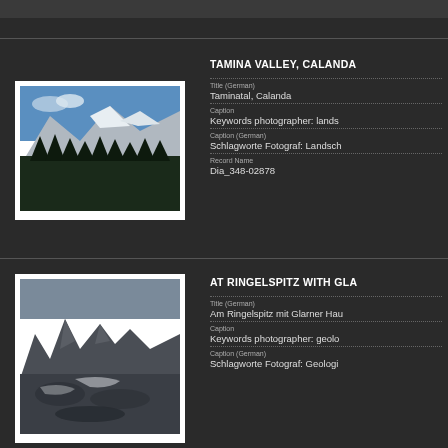[Figure (photo): Mountain landscape with snow-capped peaks (Tamina Valley, Calanda)]
TAMINA VALLEY, CALANDA
Title (German)
Taminatal, Calanda
Caption
Keywords photographer: lands...
Caption (German)
Schlagworte Fotograf: Landsch...
Record Name
Dia_348-02878
[Figure (photo): Rocky mountain terrain at Ringelspitz with glacial formations]
AT RINGELSPITZ WITH GLA...
Title (German)
Am Ringelspitz mit Glarner Hau...
Caption
Keywords photographer: geolo...
Caption (German)
Schlagworte Fotograf: Geologi...